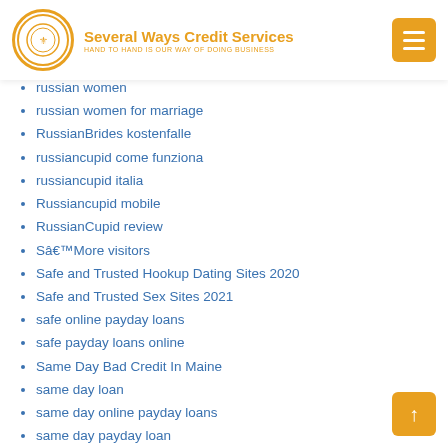Several Ways Credit Services — HAND TO HAND IS OUR WAY OF DOING BUSINESS
russian women
russian women for marriage
RussianBrides kostenfalle
russiancupid come funziona
russiancupid italia
Russiancupid mobile
RussianCupid review
Sâ€™More visitors
Safe and Trusted Hookup Dating Sites 2020
Safe and Trusted Sex Sites 2021
safe online payday loans
safe payday loans online
Same Day Bad Credit In Maine
same day loan
same day online payday loans
same day payday loan
same day payday loan online
same day payday loans
Same Day Payday Loans In Suffolk